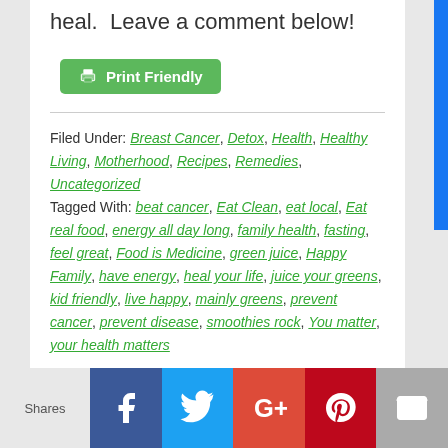heal.  Leave a comment below!
[Figure (other): Green Print Friendly button with printer icon]
Filed Under: Breast Cancer, Detox, Health, Healthy Living, Motherhood, Recipes, Remedies, Uncategorized
Tagged With: beat cancer, Eat Clean, eat local, Eat real food, energy all day long, family health, fasting, feel great, Food is Medicine, green juice, Happy Family, have energy, heal your life, juice your greens, kid friendly, live happy, mainly greens, prevent cancer, prevent disease, smoothies rock, You matter, your health matters
[Figure (other): Social sharing bar with Facebook, Twitter, Google+, Pinterest, and Email buttons]